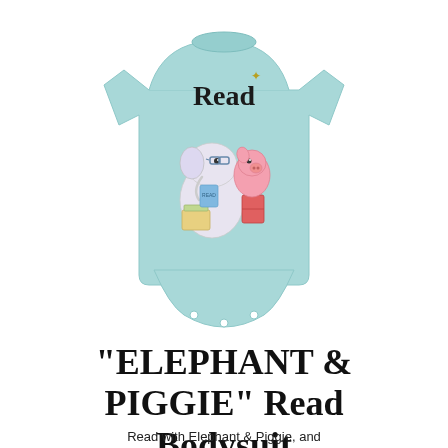[Figure (photo): A light blue baby bodysuit/onesie with the word 'Read' printed on the chest in large black serif text, along with a cartoon illustration of Elephant and Piggie characters reading books. The onesie has short sleeves and snap closures at the bottom.]
"ELEPHANT & PIGGIE" Read Bodysuit
Read with Elephant & Piggie, and